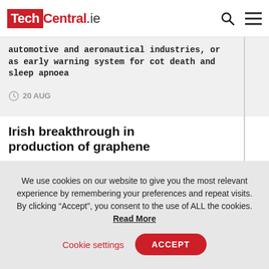TechCentral.ie
automotive and aeronautical industries, or as early warning system for cot death and sleep apnoea
20 AUG
Irish breakthrough in production of graphene
AMBER research team develops a production process with the potential for industrialisation
We use cookies on our website to give you the most relevant experience by remembering your preferences and repeat visits. By clicking “Accept”, you consent to the use of ALL the cookies. Read More
Cookie settings  ACCEPT